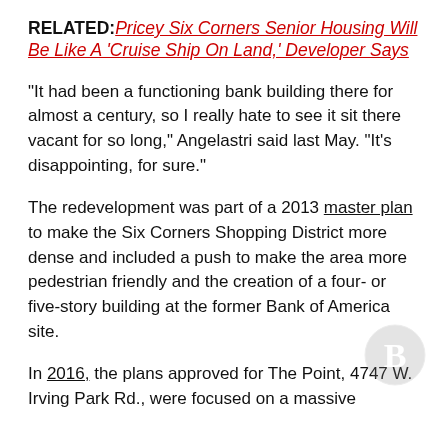RELATED: Pricey Six Corners Senior Housing Will Be Like A 'Cruise Ship On Land,' Developer Says
“It had been a functioning bank building there for almost a century, so I really hate to see it sit there vacant for so long,” Angelastri said last May. “It’s disappointing, for sure.”
The redevelopment was part of a 2013 master plan to make the Six Corners Shopping District more dense and included a push to make the area more pedestrian friendly and the creation of a four- or five-story building at the former Bank of America site.
In 2016, the plans approved for The Point, 4747 W. Irving Park Rd., were focused on a massive